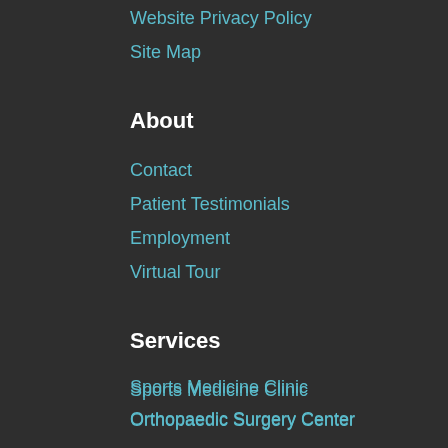Website Privacy Policy
Site Map
About
Contact
Patient Testimonials
Employment
Virtual Tour
Services
Sports Medicine Clinic
Orthopaedic Surgery Center
Open MRI
Digital X-ray